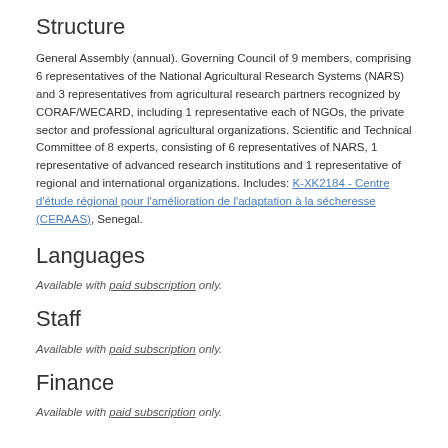Structure
General Assembly (annual). Governing Council of 9 members, comprising 6 representatives of the National Agricultural Research Systems (NARS) and 3 representatives from agricultural research partners recognized by CORAF/WECARD, including 1 representative each of NGOs, the private sector and professional agricultural organizations. Scientific and Technical Committee of 8 experts, consisting of 6 representatives of NARS, 1 representative of advanced research institutions and 1 representative of regional and international organizations. Includes: K-XK2184 - Centre d'étude régional pour l'amélioration de l'adaptation à la sécheresse (CERAAS), Senegal.
Languages
Available with paid subscription only.
Staff
Available with paid subscription only.
Finance
Available with paid subscription only.